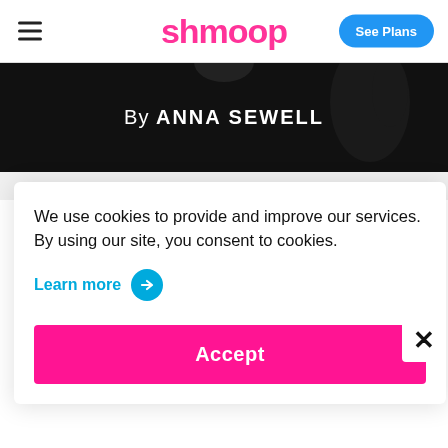shmoop | See Plans
[Figure (screenshot): Dark hero banner showing 'By Anna Sewell' text in white on black background, partial image of a horse]
Advertisement · Guide continues below
We use cookies to provide and improve our services. By using our site, you consent to cookies.
Learn more →
Accept